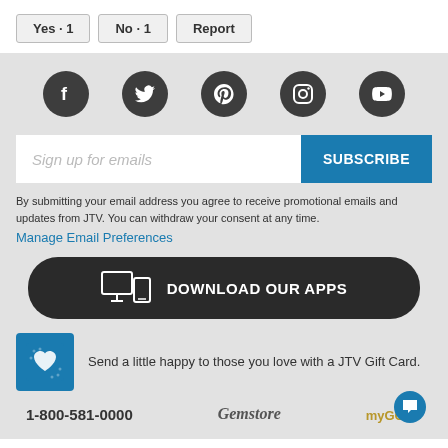Yes · 1   No · 1   Report
[Figure (infographic): Five dark circular social media icon buttons: Facebook, Twitter, Pinterest, Instagram, YouTube]
[Figure (infographic): Email subscription bar with placeholder text 'Sign up for emails' and blue SUBSCRIBE button]
By submitting your email address you agree to receive promotional emails and updates from JTV. You can withdraw your consent at any time.
Manage Email Preferences
[Figure (infographic): Dark rounded button with monitor and phone icons labeled DOWNLOAD OUR APPS]
Send a little happy to those you love with a JTV Gift Card.
1-800-581-0000   Gemstone   myGOLD